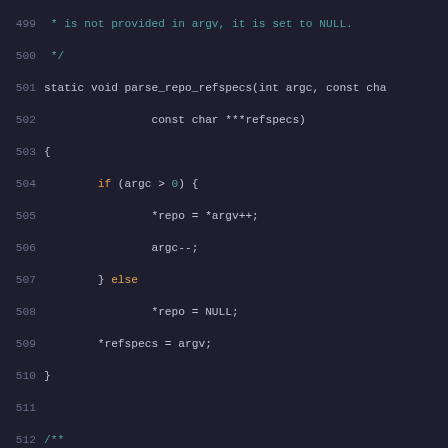[Figure (screenshot): Source code screenshot showing C code lines 499-528, with syntax highlighting on dark background. Keywords in orange, comments in teal/cyan, string literals in red, regular code in light gray.]